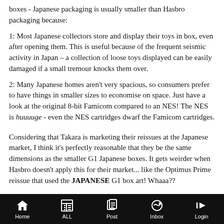boxes - Japanese packaging is usually smaller than Hasbro packaging because:
1: Most Japanese collectors store and display their toys in box, even after opening them. This is useful because of the frequent seismic activity in Japan – a collection of loose toys displayed can be easily damaged if a small tremour knocks them over.
2: Many Japanese homes aren't very spacious, so consumers prefer to have things in smaller sizes to economise on space. Just have a look at the original 8-bit Famicom compared to an NES! The NES is huuuuge - even the NES cartridges dwarf the Famicom cartridges.
Considering that Takara is marketing their reissues at the Japanese market, I think it's perfectly reasonable that they be the same dimensions as the smaller G1 Japanese boxes. It gets weirder when Hasbro doesn't apply this for their market... like the Optimus Prime reissue that used the JAPANESE G1 box art! Whaaa??
Home | ALL | Post | Inbox | Login